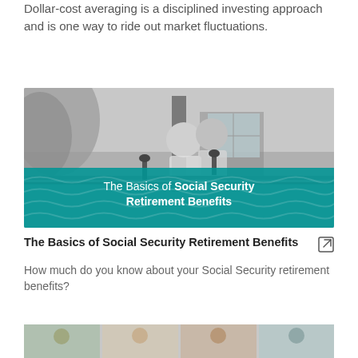Dollar-cost averaging is a disciplined investing approach and is one way to ride out market fluctuations.
[Figure (photo): Black and white photo of an older couple standing on a balcony with a teal/turquoise overlay banner showing the article title 'The Basics of Social Security Retirement Benefits']
The Basics of Social Security Retirement Benefits
How much do you know about your Social Security retirement benefits?
[Figure (photo): Partial view of another article card at the bottom of the page, showing a strip of images]